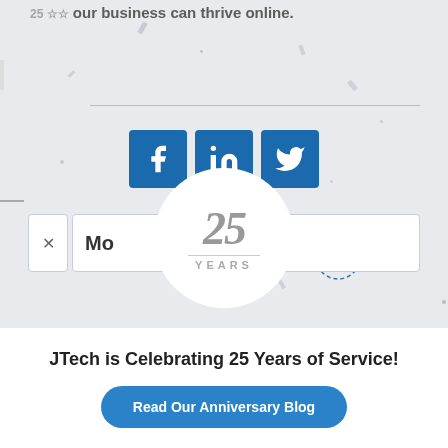[Figure (screenshot): Screenshot of a website showing social media share icons (Facebook, LinkedIn, Twitter), a 25 Years badge circle, confetti background, paper plane illustration, a notification/popup bar, a close button, partial text 'your business can thrive online.']
JTech is Celebrating 25 Years of Service!
Read Our Anniversary Blog